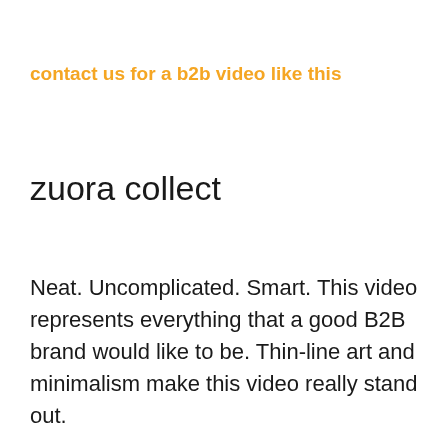contact us for a b2b video like this
zuora collect
Neat. Uncomplicated. Smart. This video represents everything that a good B2B brand would like to be. Thin-line art and minimalism make this video really stand out.